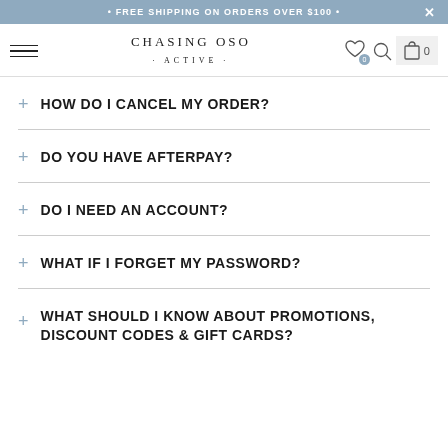• FREE SHIPPING ON ORDERS OVER $100 •
[Figure (screenshot): Chasing Oso Active website navigation bar with hamburger menu, logo, wishlist, search, and cart icons]
+ HOW DO I CANCEL MY ORDER?
+ DO YOU HAVE AFTERPAY?
+ DO I NEED AN ACCOUNT?
+ WHAT IF I FORGET MY PASSWORD?
+ WHAT SHOULD I KNOW ABOUT PROMOTIONS, DISCOUNT CODES & GIFT CARDS?